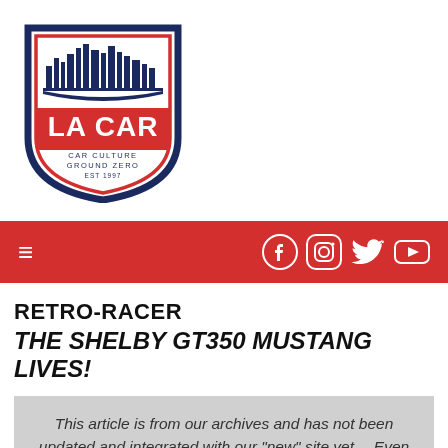[Figure (logo): LA CAR logo — shield shape with navy blue border, city skyline silhouette at top, red text 'LA CAR' in center, text 'CAR CULTURE GROUND ZERO EST 1997' below]
[Figure (infographic): Red navigation bar with hamburger menu icon on left and social media icons (Facebook, Instagram, Twitter, YouTube) on right in white]
RETRO-RACER
THE SHELBY GT350 MUSTANG LIVES!
This article is from our archives and has not been updated and integrated with our "new" site yet… Even so, it's still awesome - so keep reading!